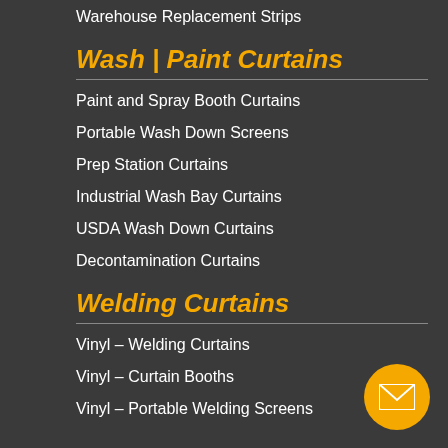Warehouse Replacement Strips
Wash | Paint Curtains
Paint and Spray Booth Curtains
Portable Wash Down Screens
Prep Station Curtains
Industrial Wash Bay Curtains
USDA Wash Down Curtains
Decontamination Curtains
Welding Curtains
Vinyl – Welding Curtains
Vinyl – Curtain Booths
Vinyl – Portable Welding Screens
[Figure (other): Orange circular email contact button with envelope icon]